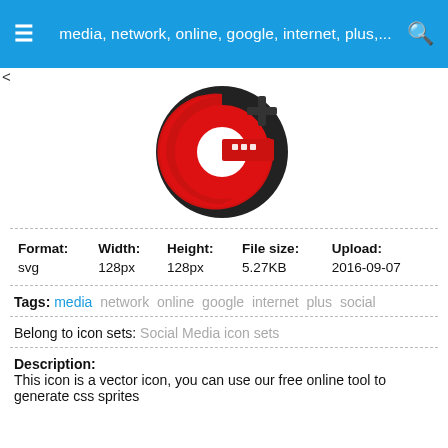media, network, online, google, internet, plus,...
[Figure (logo): Google Plus (G+) icon — red letter G with a dark plus sign, cartoon style with dark border]
| Format: | Width: | Height: | File size: | Upload: |
| --- | --- | --- | --- | --- |
| svg | 128px | 128px | 5.27KB | 2016-09-07 |
Tags: media network online google internet plus social
Belong to icon sets: Social Media icon sets
Description:
This icon is a vector icon, you can use our free online tool to generate css sprites